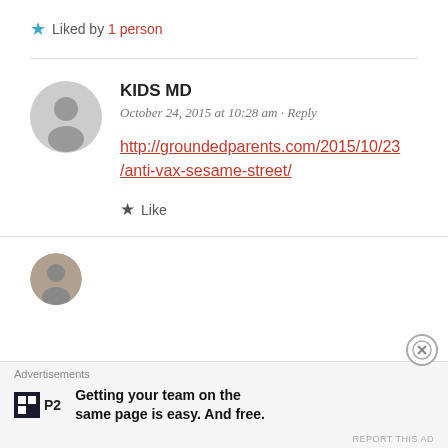★ Liked by 1 person
KIDS MD
October 24, 2015 at 10:28 am · Reply
http://groundedparents.com/2015/10/23/anti-vax-sesame-street/
★ Like
Advertisements
Getting your team on the same page is easy. And free.